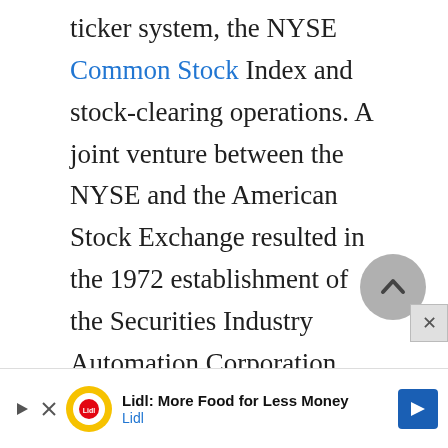ticker system, the NYSE Common Stock Index and stock-clearing operations. A joint venture between the NYSE and the American Stock Exchange resulted in the 1972 establishment of the Securities Industry Automation Corporation (SIAC), which provided consulting and development services in automated systems for the entire industry. Improved systems utilized by the NY...
[Figure (other): Scroll-to-top button (grey circle with chevron/caret up icon)]
[Figure (other): Close button (X)]
[Figure (other): Advertisement banner: Lidl logo with text 'Lidl: More Food for Less Money' and blue arrow icon]